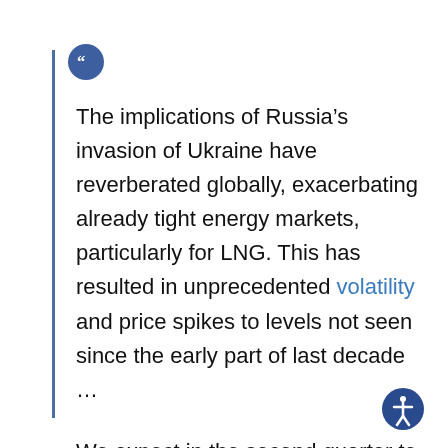The implications of Russia's invasion of Ukraine have reverberated globally, exacerbating already tight energy markets, particularly for LNG. This has resulted in unprecedented volatility and price spikes to levels not seen since the early part of last decade …

We expect in the second quarter to see the continued benefit of stronger pricing, reflecting the oil price lag in many of our LNG contracts.